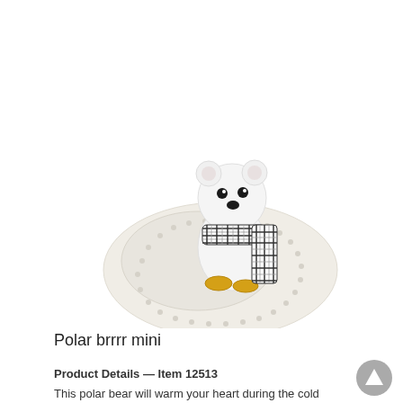[Figure (photo): A ceramic polar bear figurine wearing a black and white plaid scarf, sitting on the rim of a cream-colored decorative plate. The bear is white with black dot eyes and nose, and has yellow/gold feet visible at the bottom.]
Polar brrrr mini
Product Details — Item 12513
This polar bear will warm your heart during the cold